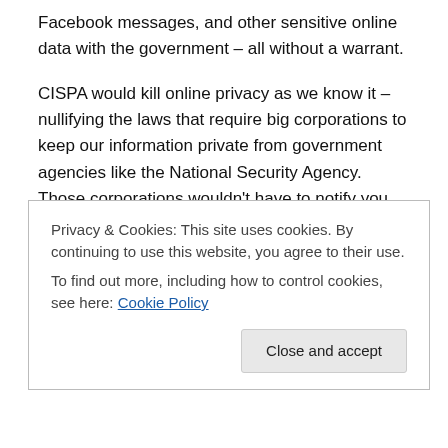Facebook messages, and other sensitive online data with the government – all without a warrant.
CISPA would kill online privacy as we know it – nullifying the laws that require big corporations to keep our information private from government agencies like the National Security Agency. Those corporations wouldn't have to notify you that they have done this and you wouldn't be able to take legal action against them if they made a mistake when sharing your information.
While strong information security is critical to privacy and
Privacy & Cookies: This site uses cookies. By continuing to use this website, you agree to their use.
To find out more, including how to control cookies, see here: Cookie Policy
Close and accept